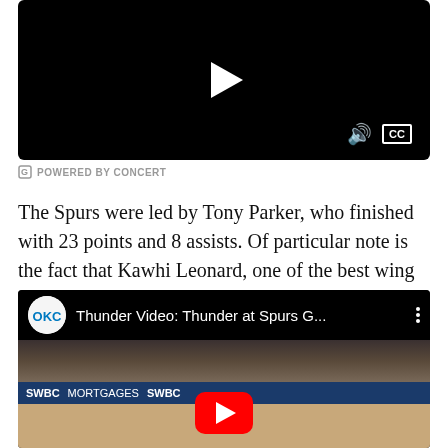[Figure (screenshot): Embedded video player with black background, play button on left, volume and CC controls on right]
POWERED BY CONCERT
The Spurs were led by Tony Parker, who finished with 23 points and 8 assists. Of particular note is the fact that Kawhi Leonard, one of the best wing defenders in the NBA, did not suit up tonight, which greatly hurt the Spurs' defensive effort.
[Figure (screenshot): YouTube embedded video thumbnail showing Thunder at Spurs basketball game with OKC Thunder logo, title Thunder Video: Thunder at Spurs G..., and YouTube play button overlay]